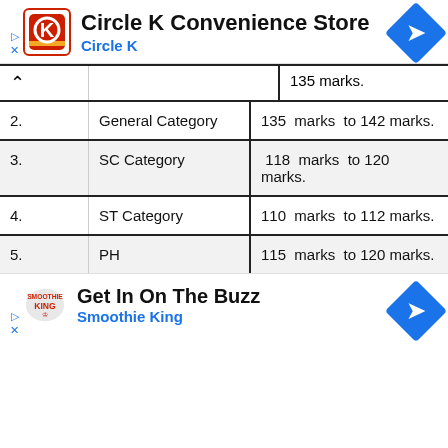[Figure (logo): Circle K Convenience Store advertisement banner with Circle K logo, title text, and navigation arrow diamond icon]
|  | Category | Marks Range |
| --- | --- | --- |
|  | (partial/cut off) | 135 marks. |
| 2. | General Category | 135 marks to 142 marks. |
| 3. | SC Category | 118 marks to 120 marks. |
| 4. | ST Category | 110 marks to 112 marks. |
| 5. | PH | 115 marks to 120 marks. |
[Figure (logo): Smoothie King advertisement banner with logo, 'Get In On The Buzz' title, and navigation arrow diamond icon]